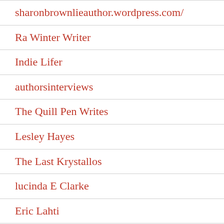sharonbrownlieauthor.wordpress.com/
Ra Winter Writer
Indie Lifer
authorsinterviews
The Quill Pen Writes
Lesley Hayes
The Last Krystallos
lucinda E Clarke
Eric Lahti